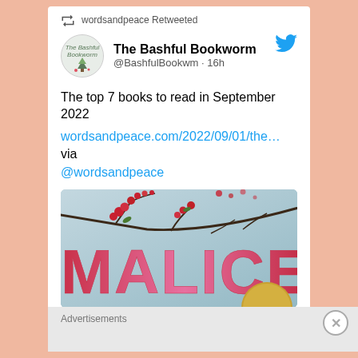wordsandpeace Retweeted
The Bashful Bookworm @BashfulBookwm · 16h
The top 7 books to read in September 2022
wordsandpeace.com/2022/09/01/the… via @wordsandpeace
[Figure (photo): Book cover of MALICE with cherry blossom branches on a teal/gray background]
wordsandpeace.com
Advertisements